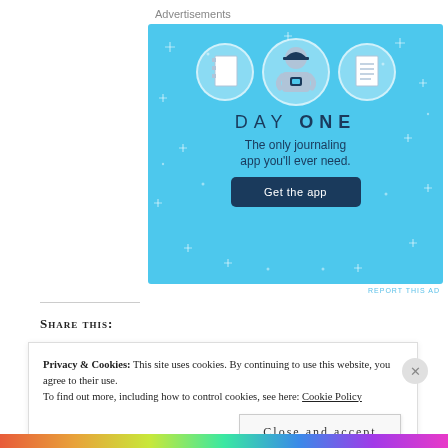Advertisements
[Figure (illustration): Day One journaling app advertisement. Light blue background with sparkle/star decorations. Three circular icons at top showing a notebook, a person wearing a cap holding a phone, and a lined notepad. Large text reads 'DAY ONE' with tagline 'The only journaling app you'll ever need.' and a dark teal 'Get the app' button.]
REPORT THIS AD
Share this:
Privacy & Cookies: This site uses cookies. By continuing to use this website, you agree to their use.
To find out more, including how to control cookies, see here: Cookie Policy
Close and accept